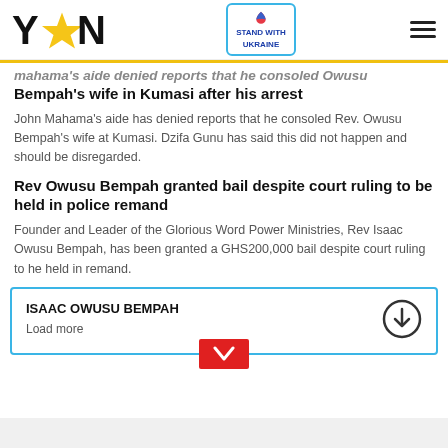YEN | STAND WITH UKRAINE
Bempah's wife in Kumasi after his arrest
John Mahama's aide has denied reports that he consoled Rev. Owusu Bempah's wife at Kumasi. Dzifa Gunu has said this did not happen and should be disregarded.
Rev Owusu Bempah granted bail despite court ruling to be held in police remand
Founder and Leader of the Glorious Word Power Ministries, Rev Isaac Owusu Bempah, has been granted a GHS200,000 bail despite court ruling to he held in remand.
ISAAC OWUSU BEMPAH
Load more